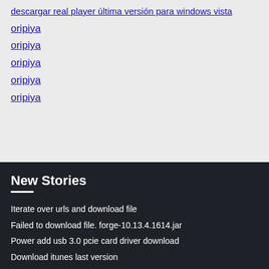descargar real player última versión para windows vista
oripiya
oripiya
oripiya
oripiya
oripiya
New Stories
Iterate over urls and download file
Failed to download file. forge-10.13.4.1614.jar
Power add usb 3.0 pcie card driver download
Download itunes last version